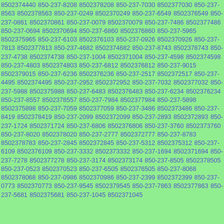8502374440 850-237-8208 8502378208 850-237-7030 8502377030 850-237-8563 8502378563 850-237-0249 8502370249 850-237-6549 8502376549 850-237-0861 8502370861 850-237-0079 8502370079 850-237-7486 8502377486 850-237-0694 8502370694 850-237-6860 8502376860 850-237-5965 8502375965 850-237-6103 8502376103 850-237-0926 8502370926 850-237-7813 8502377813 850-237-4682 8502374682 850-237-8743 8502378743 850-237-4738 8502374738 850-237-1004 8502371004 850-237-4598 8502374598 850-237-4803 8502374803 850-237-6812 8502376812 850-237-9015 8502379015 850-237-6236 8502376236 850-237-2517 8502372517 850-237-4495 8502374495 850-237-2952 8502372952 850-237-7032 8502377032 850-237-5988 8502375988 850-237-6483 8502376483 850-237-6234 8502376234 850-237-8557 8502378557 850-237-7984 8502377984 850-237-5898 8502375898 850-237-7059 8502377059 850-237-3486 8502373486 850-237-8419 8502378419 850-237-2099 8502372099 850-237-2893 8502372893 850-237-1724 8502371724 850-237-6806 8502376806 850-237-3760 8502373760 850-237-8020 8502378020 850-237-2777 8502372777 850-237-8783 8502378783 850-237-2845 8502372845 850-237-5312 8502375312 850-237-6109 8502376109 850-237-3332 8502373332 850-237-1694 8502371694 850-237-7278 8502377278 850-237-3174 8502373174 850-237-8505 8502378505 850-237-0523 8502370523 850-237-6505 8502376505 850-237-8068 8502378068 850-237-0986 8502370986 850-237-2399 8502372399 850-237-0773 8502370773 850-237-9545 8502379545 850-237-7863 8502377863 850-237-5681 8502375681 850-237-1045 8502371045